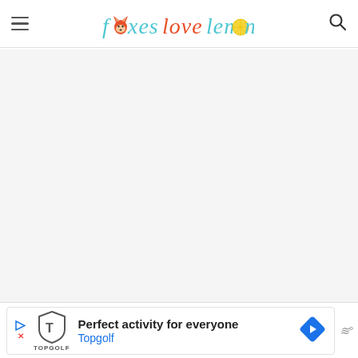foxes love lemons - website header with logo and navigation
[Figure (screenshot): Large white/light grey content area below the header, representing a partially loaded webpage body]
[Figure (infographic): Advertisement banner at the bottom: Topgolf logo with shield icon, text 'Perfect activity for everyone' and 'Topgolf', blue navigation arrow icon, and triple bar W° icon on the right]